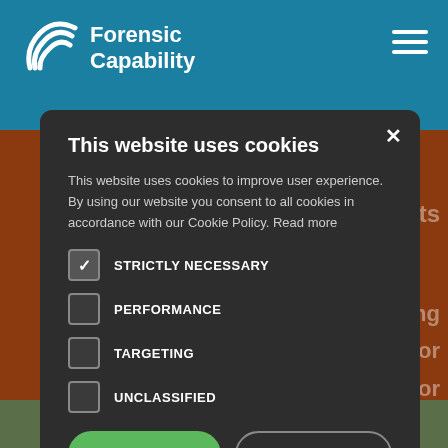[Figure (logo): Forensic Capability logo with spiral icon and white text on teal background]
This website uses cookies
This website uses cookies to improve user experience. By using our website you consent to all cookies in accordance with our Cookie Policy. Read more
STRICTLY NECESSARY (checked)
PERFORMANCE (unchecked)
TARGETING (unchecked)
UNCLASSIFIED (unchecked)
ACCEPT ALL
DECLINE ALL
SHOW DETAILS